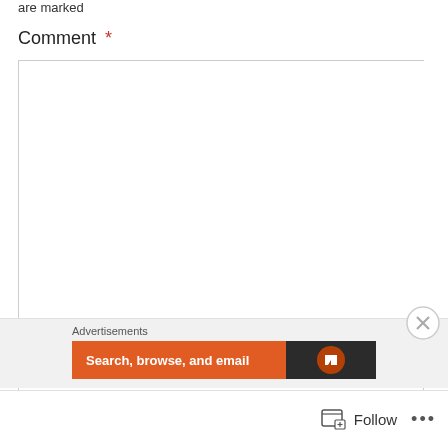are marked
Comment *
[Figure (screenshot): Empty comment text area input box with resize handle]
Name *
[Figure (screenshot): Name text input box (partially visible)]
Advertisements
[Figure (screenshot): Advertisement banner: orange section with 'Search, browse, and email' text and dark section with logo icon]
[Figure (screenshot): Close (X) button for advertisements overlay]
[Figure (screenshot): Footer bar with Follow button and more options (...)]